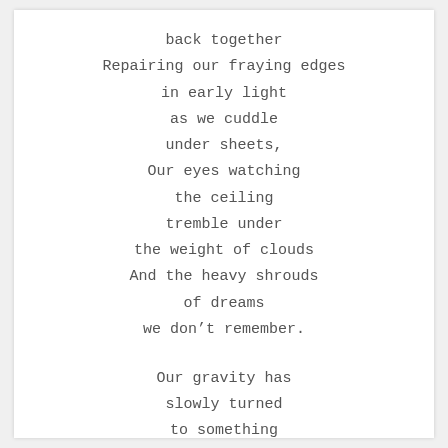back together
Repairing our fraying edges
in early light
as we cuddle
under sheets,
Our eyes watching
the ceiling
tremble under
the weight of clouds
And the heavy shrouds
of dreams
we don't remember.

Our gravity has
slowly turned
to something
like necessity
and then